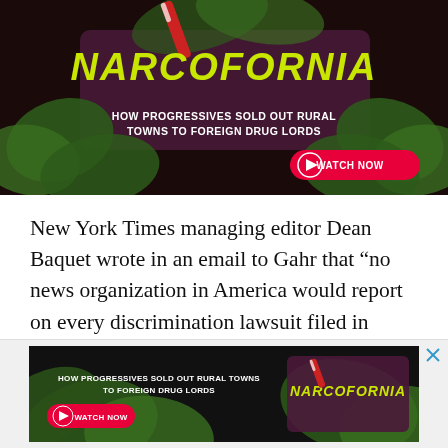[Figure (illustration): Advertisement banner for 'Narcofornia' documentary showing cannabis leaves background with yellow bold italic title text 'NARCOFORNIA', subtitle 'HOW PROGRESSIVES SOLD OUT RURAL TOWNS TO FOREIGN DRUG LORDS', and a red WATCH NOW button with play icon.]
New York Times managing editor Dean Baquet wrote in an email to Gahr that “no news organization in America would report on every discrimination lawsuit filed in every court in every medium-sized city.”
[Figure (illustration): Second smaller advertisement banner for 'Narcofornia' with cannabis leaves background, text 'HOW PROGRESSIVES SOLD OUT RURAL TOWNS TO FOREIGN DRUG LORDS', red WATCH NOW button, and yellow NARCOFORNIA logo on the right.]